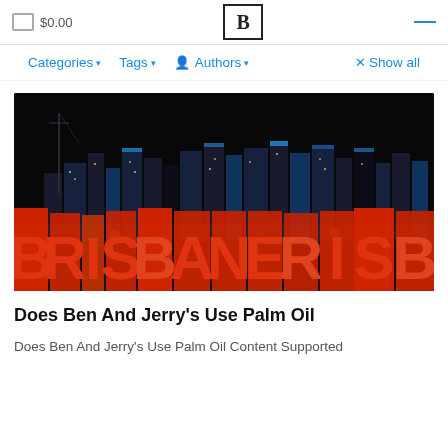$0.00 | B | —
Categories ▾   Tags ▾   Authors ▾   × Show all
[Figure (photo): Night photograph of illuminated BRISBANE letter signs in the foreground with a lit city skyline behind, set against a dark night sky.]
Does Ben And Jerry's Use Palm Oil
Does Ben And Jerry's Use Palm Oil Content Supported